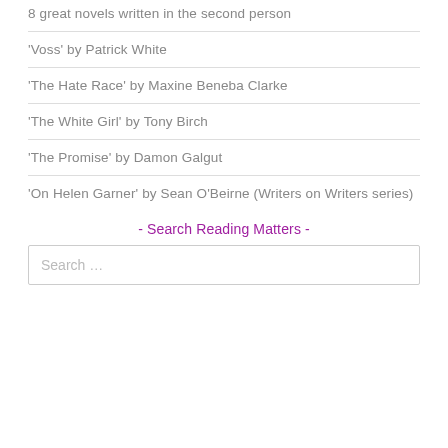8 great novels written in the second person
'Voss' by Patrick White
'The Hate Race' by Maxine Beneba Clarke
'The White Girl' by Tony Birch
'The Promise' by Damon Galgut
'On Helen Garner' by Sean O'Beirne (Writers on Writers series)
- Search Reading Matters -
Search …